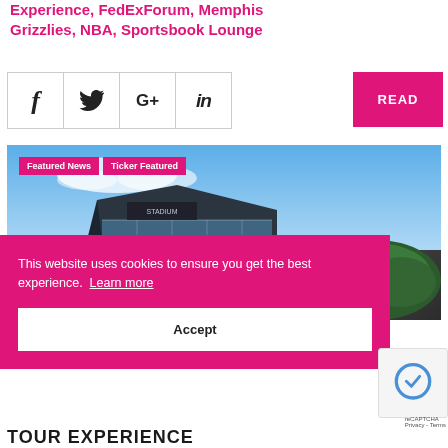Experience, FedExForum, Memphis Grizzlies, NBA, Sportsbook Lounge
[Figure (other): Social sharing icons row: Facebook (f), Twitter (bird), Google+ (G+), LinkedIn (in)]
READ
[Figure (photo): Photo of a modern glass stadium building (U.S. Bank Stadium or similar) under blue sky, with trees in the background. Labels: Featured News, Ticker Featured]
This website uses cookies to ensure you get the best experience. Learn more
Accept
[Figure (other): reCAPTCHA checkbox widget with privacy and terms links]
TOUR EXPERIENCE